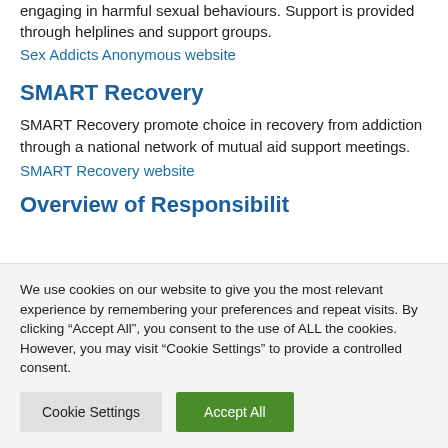engaging in harmful sexual behaviours. Support is provided through helplines and support groups.
Sex Addicts Anonymous website
SMART Recovery
SMART Recovery promote choice in recovery from addiction through a national network of mutual aid support meetings.
SMART Recovery website
Overview of Responsibility
We use cookies on our website to give you the most relevant experience by remembering your preferences and repeat visits. By clicking “Accept All”, you consent to the use of ALL the cookies. However, you may visit "Cookie Settings" to provide a controlled consent.
Cookie Settings
Accept All